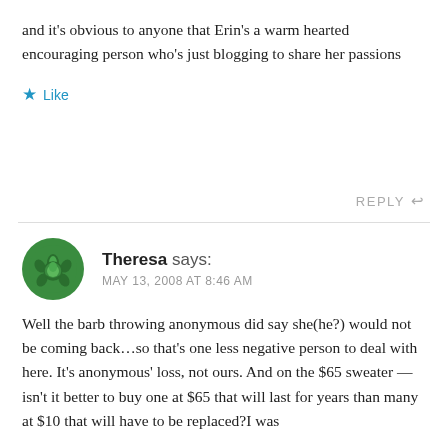and it's obvious to anyone that Erin's a warm hearted encouraging person who's just blogging to share her passions
Like
REPLY
Theresa says: MAY 13, 2008 AT 8:46 AM
Well the barb throwing anonymous did say she(he?) would not be coming back…so that's one less negative person to deal with here. It's anonymous' loss, not ours. And on the $65 sweater — isn't it better to buy one at $65 that will last for years than many at $10 that will have to be replaced?I was